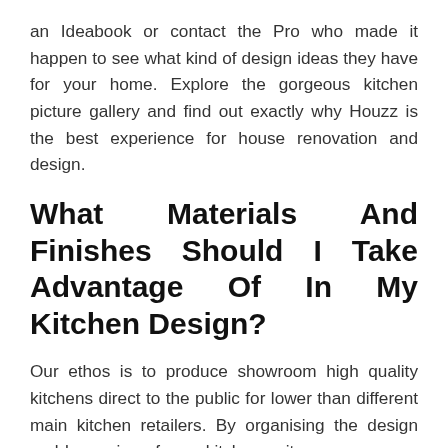an Ideabook or contact the Pro who made it happen to see what kind of design ideas they have for your home. Explore the gorgeous kitchen picture gallery and find out exactly why Houzz is the best experience for house renovation and design.
What Materials And Finishes Should I Take Advantage Of In My Kitchen Design?
Our ethos is to produce showroom high quality kitchens direct to the public for lower than different main kitchen retailers. By organising the design and becoming of your kitchen units, you can save as much as 75% on showroom high quality kitchens. When in search of kitchen decorating ideas, take into consideration which kitchen reworking concepts inspire you. Given the fact that this room is the guts of your home and the place the